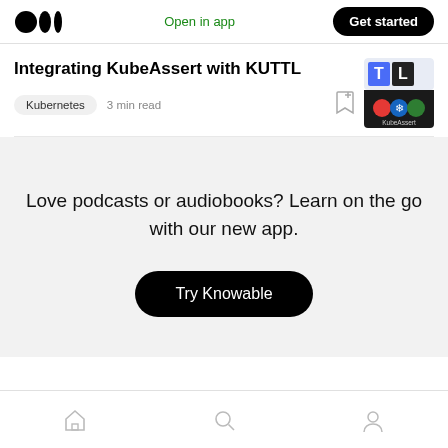Open in app | Get started
Integrating KubeAssert with KUTTL
Kubernetes  3 min read
[Figure (logo): KubeAssert app thumbnail with colorful icons and KubeAssert text]
Love podcasts or audiobooks? Learn on the go with our new app.
Try Knowable
Home, Search, Profile navigation icons